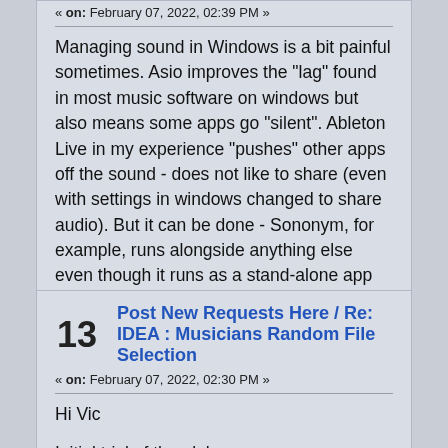« on: February 07, 2022, 02:39 PM »
Managing sound in Windows is a bit painful sometimes. Asio improves the "lag" found in most music software on windows but also means some apps go "silent". Ableton Live in my experience "pushes" other apps off the sound - does not like to share (even with settings in windows changed to share audio). But it can be done - Sononym, for example, runs alongside anything else even though it runs as a stand-alone app rather than VST.
13  Post New Requests Here / Re: IDEA : Musicians Random File Selection
« on: February 07, 2022, 02:30 PM »
Hi Vic
Initial trial of the alpha -